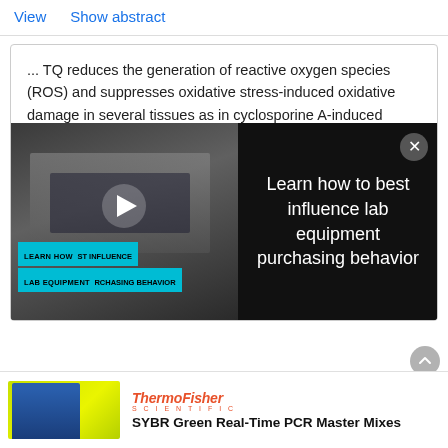View    Show abstract
... TQ reduces the generation of reactive oxygen species (ROS) and suppresses oxidative stress-induced oxidative damage in several tissues as in cyclosporine A-induced nephrotoxicity (Farag et al. 2015), acetaminophen-induced hepatotoxicity (Awad et al. 2016), and ischemia/reperfusion-induced spinal cord injury (Gökce et al. 2016). TQ is regarded by many investigators as a potent antioxidant with additional anti-inflammatory properties that may expand its therapeutic potential in
[Figure (screenshot): Video advertisement overlay showing a lab equipment video with play button on the left side and text 'Learn how to best influence lab equipment purchasing behavior' on black background on the right side with a close button]
[Figure (logo): ThermoFisher Scientific logo in orange/red]
SYBR Green Real-Time PCR Master Mixes